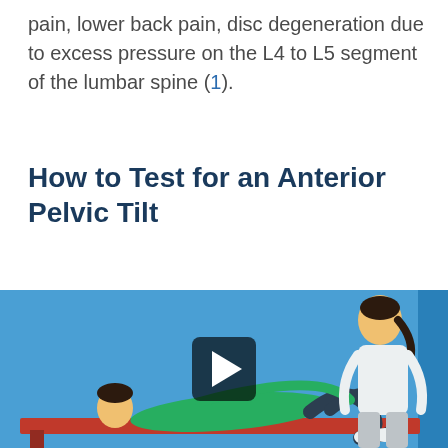pain, lower back pain, disc degeneration due to excess pressure on the L4 to L5 segment of the lumbar spine (1).
How to Test for an Anterior Pelvic Tilt
[Figure (photo): Video thumbnail showing a patient lying on a treatment table with knees bent while a healthcare practitioner stands beside them. A video play button overlay is shown in the center. Background is blue.]